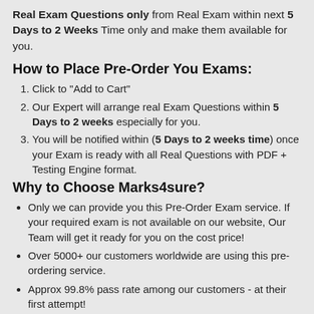Real Exam Questions only from Real Exam within next 5 Days to 2 Weeks Time only and make them available for you.
How to Place Pre-Order You Exams:
Click to "Add to Cart"
Our Expert will arrange real Exam Questions within 5 Days to 2 weeks especially for you.
You will be notified within (5 Days to 2 weeks time) once your Exam is ready with all Real Questions with PDF + Testing Engine format.
Why to Choose Marks4sure?
Only we can provide you this Pre-Order Exam service. If your required exam is not available on our website, Our Team will get it ready for you on the cost price!
Over 5000+ our customers worldwide are using this pre-ordering service.
Approx 99.8% pass rate among our customers - at their first attempt!
90 days of free updates included!